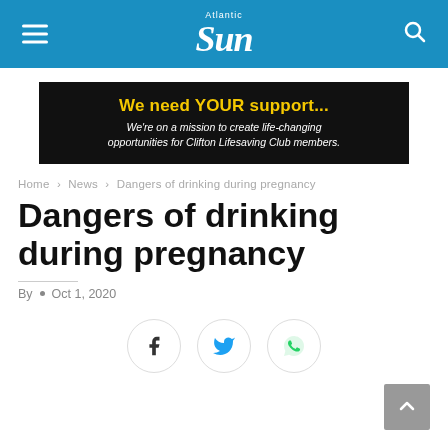Atlantic Sun
[Figure (other): Advertisement banner: 'We need YOUR support... We're on a mission to create life-changing opportunities for Clifton Lifesaving Club members.']
Home > News > Dangers of drinking during pregnancy
Dangers of drinking during pregnancy
By · Oct 1, 2020
[Figure (other): Social share buttons: Facebook, Twitter, WhatsApp]